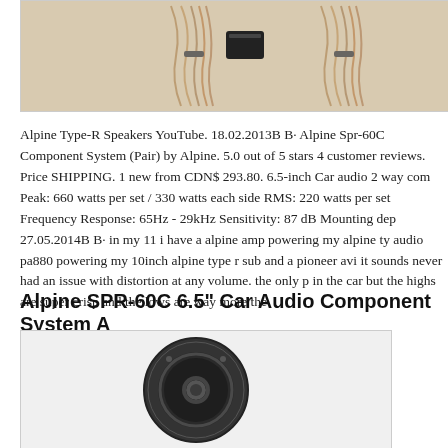[Figure (photo): Photo of Alpine car audio component system with wiring harnesses and crossover unit laid out on a light background]
Alpine Type-R Speakers YouTube. 18.02.2013B B· Alpine Spr-60C Component System (Pair) by Alpine. 5.0 out of 5 stars 4 customer reviews. Price SHIPPING. 1 new from CDN$ 293.80. 6.5-inch Car audio 2 way component Peak: 660 watts per set / 330 watts each side RMS: 220 watts per set Frequency Response: 65Hz - 29kHz Sensitivity: 87 dB Mounting depth 27.05.2014B B· in my 11 i have a alpine amp powering my alpine type r speakers audio pa880 powering my 10inch alpine type r sub and a pioneer avi it sounds never had an issue with distortion at any volume. the only problem in the car but the highs are super crisp and the lows are way more the
Alpine SPR-60C 6.5" Car Audio Component System A
[Figure (photo): Photo of a black Alpine SPR-60C 6.5 inch car audio component speaker, showing the front face of the woofer]